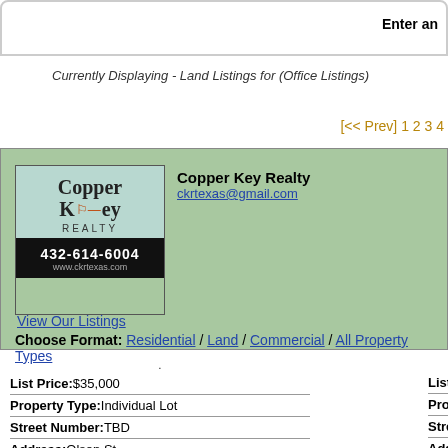Enter an
Currently Displaying - Land Listings for (Office Listings)
[<< Prev] 1 2 3 4
[Figure (logo): Copper Key Realty logo with phone 432-614-6004 and website www.ckrtexas.com]
Copper Key Realty
ckrtexas@gmail.com
View Our Listings
Choose Format: Residential / Land / Commercial / All Property Types
List Price: $35,000
Property Type: Individual Lot
Street Number: TBD
Address: Olsen St
City: Odessa
Apx Acreage: 1
List Price: $35,0
Property Type: I
Street Number:
Address: Olsen
City: Odessa
Apx Acreage: 1